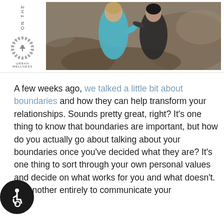[Figure (photo): Two people sitting outdoors on rocks in a natural setting. One person in a teal/turquoise jacket is facing another person in a dark jacket. Rocky, earthy terrain in the background. Urban Wellness logo and vertical 'ON THE' text visible on the left side.]
A few weeks ago, we talked a little bit about boundaries and how they can help transform your relationships. Sounds pretty great, right? It's one thing to know that boundaries are important, but how do you actually go about talking about your boundaries once you've decided what they are? It's one thing to sort through your own personal values and decide on what works for you and what doesn't. It's another entirely to communicate your